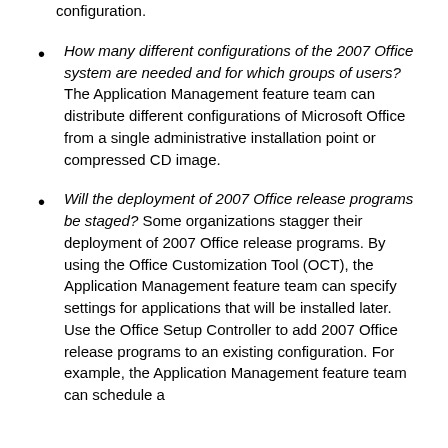configuration.
How many different configurations of the 2007 Office system are needed and for which groups of users? The Application Management feature team can distribute different configurations of Microsoft Office from a single administrative installation point or compressed CD image.
Will the deployment of 2007 Office release programs be staged? Some organizations stagger their deployment of 2007 Office release programs. By using the Office Customization Tool (OCT), the Application Management feature team can specify settings for applications that will be installed later. Use the Office Setup Controller to add 2007 Office release programs to an existing configuration. For example, the Application Management feature team can schedule a